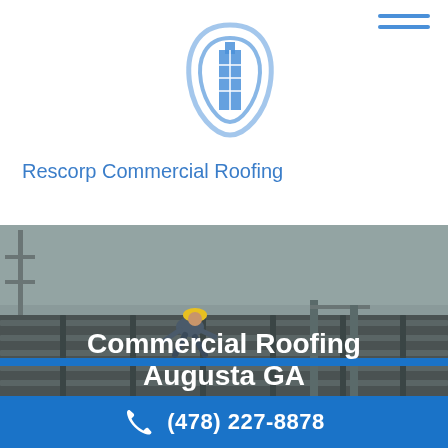[Figure (logo): Rescorp Commercial Roofing logo: blue circular arc with building icon]
Rescorp Commercial Roofing
[Figure (photo): Construction worker in yellow hard hat working on a commercial rooftop steel frame structure, overcast sky in background]
Commercial Roofing Augusta GA
(478) 227-8878